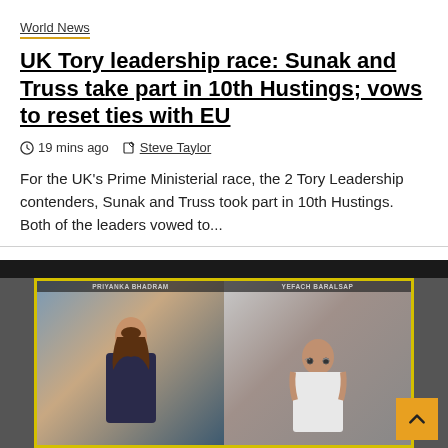World News
UK Tory leadership race: Sunak and Truss take part in 10th Hustings; vows to reset ties with EU
19 mins ago   Steve Taylor
For the UK's Prime Ministerial race, the 2 Tory Leadership contenders, Sunak and Truss took part in 10th Hustings. Both of the leaders vowed to...
[Figure (screenshot): Video thumbnail showing two people in a split-screen format: on the left a woman (PRIYANKA BHADRAM) and on the right a man (YEFACH BARALSAP) with a scroll-to-top button overlay]